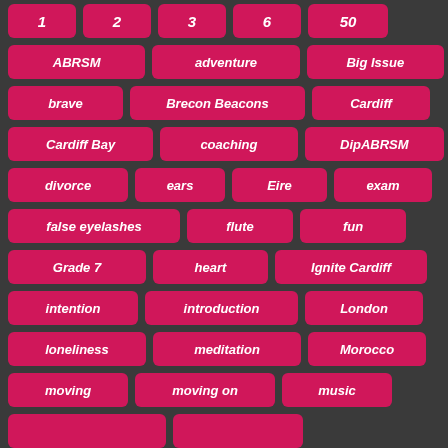[Figure (infographic): Tag cloud with pink/crimson rounded rectangle tags on dark grey background. Tags include: 1, 2, 3, 6, 50, ABRSM, adventure, Big Issue, brave, Brecon Beacons, Cardiff, Cardiff Bay, coaching, DipABRSM, divorce, ears, Eire, exam, false eyelashes, flute, fun, Grade 7, heart, Ignite Cardiff, intention, introduction, London, loneliness, meditation, Morocco, moving, moving on, music]